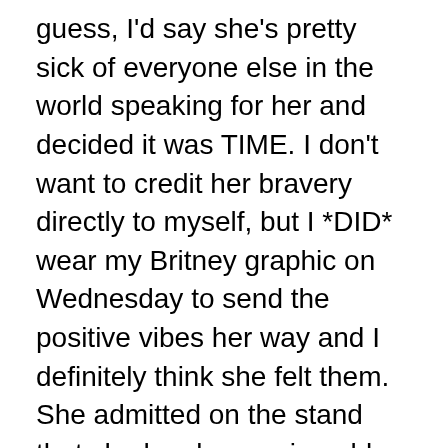guess, I'd say she's pretty sick of everyone else in the world speaking for her and decided it was TIME. I don't want to credit her bravery directly to myself, but I *DID* wear my Britney graphic on Wednesday to send the positive vibes her way and I definitely think she felt them. She admitted on the stand that she has been miserable and depressed and has been pretending for social media that she's loving life (uh, yeah, you and the rest of us Brit… that's what Instagram is for.) JK, in all seriousness, her dad has been controlling every aspect of her life including FORCING HER